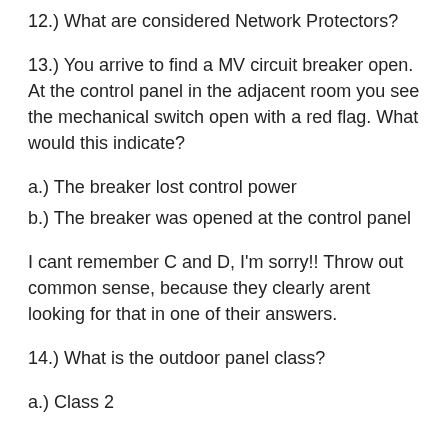12.) What are considered Network Protectors?
13.) You arrive to find a MV circuit breaker open. At the control panel in the adjacent room you see the mechanical switch open with a red flag. What would this indicate?
a.) The breaker lost control power
b.) The breaker was opened at the control panel
I cant remember C and D, I'm sorry!! Throw out common sense, because they clearly arent looking for that in one of their answers.
14.) What is the outdoor panel class?
a.) Class 2